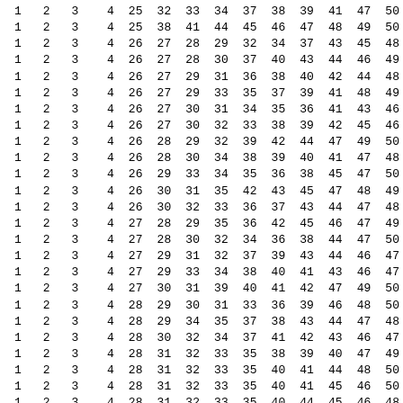1  2  3   4 25 32 33 34 37 38 39 41 47 50
1  2  3   4 25 38 41 44 45 46 47 48 49 50
1  2  3   4 26 27 28 29 32 34 37 43 45 48
1  2  3   4 26 27 28 30 37 40 43 44 46 49
1  2  3   4 26 27 29 31 36 38 40 42 44 48
1  2  3   4 26 27 29 33 35 37 39 41 48 49
1  2  3   4 26 27 30 31 34 35 36 41 43 46
1  2  3   4 26 27 30 32 33 38 39 42 45 46
1  2  3   4 26 28 29 32 39 42 44 47 49 50
1  2  3   4 26 28 30 34 38 39 40 41 47 48
1  2  3   4 26 29 33 34 35 36 38 45 47 50
1  2  3   4 26 30 31 35 42 43 45 47 48 49
1  2  3   4 26 30 32 33 36 37 43 44 47 48
1  2  3   4 27 28 29 35 36 42 45 46 47 49
1  2  3   4 27 28 30 32 34 36 38 44 47 50
1  2  3   4 27 29 31 32 37 39 43 44 46 47
1  2  3   4 27 29 33 34 38 40 41 43 46 47
1  2  3   4 27 30 31 39 40 41 42 47 49 50
1  2  3   4 28 29 30 31 33 36 39 46 48 50
1  2  3   4 28 29 34 35 37 38 43 44 47 48
1  2  3   4 28 30 32 34 37 41 42 43 46 47
1  2  3   4 28 31 32 33 35 38 39 40 47 49
1  2  3   4 28 31 32 33 35 40 41 44 48 50
1  2  3   4 28 31 32 33 35 40 41 45 46 50
1  2  3   4 28 31 32 33 35 40 44 45 46 48
1  2  3   4 28 31 33 34 36 37 39 42 43 47
1  2  3   4 28 31 33 34 36 39 41 42 44 45
1  2  3   4 28 31 33 35 36 38 39 40 43 49
1  2  3   4 28 31 33 36 37 39 41 42 44 45
1  2  3   4 28 31 33 41 43 44 45 46 48 50